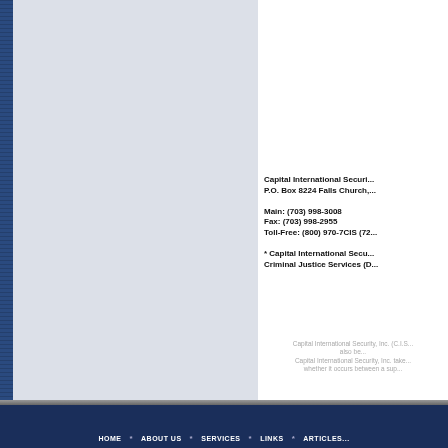[Figure (other): Dark blue textured left sidebar panel with repeating grid/dot pattern]
Capital International Security, Inc. (C.I.S.)
P.O. Box 8224 Falls Church, VA

Main: (703) 998-3008
Fax: (703) 998-2955
Toll-Free: (800) 970-7CIS (72

* Capital International Secu...
Criminal Justice Services (D...
Capital International Security, Inc. (C.I.S... also be... Capital International Security, Inc. take... whether it occurs between a sup...
HOME   ABOUT US   SERVICES   LINKS   ARTICLES